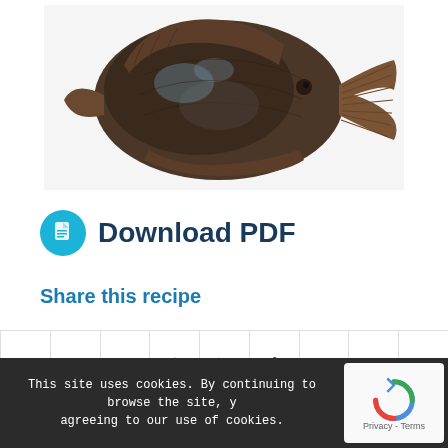[Figure (photo): A flatfish (flounder or turbot) photographed from above on a white background, showing its dark brown mottled top surface with fins visible.]
Download PDF
Share this recipe
[Figure (infographic): Social sharing icon bar with icons for Facebook, Twitter, WhatsApp, Pinterest, LinkedIn, Tumblr, VK, Reddit, and Email]
This site uses cookies. By continuing to browse the site, you are agreeing to our use of cookies.